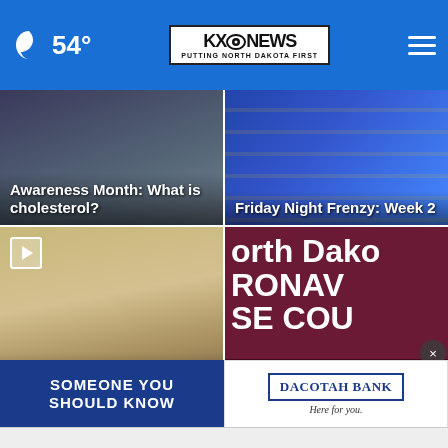54° KXO NEWS PUTTING NORTH DAKOTA FIRST
[Figure (screenshot): News thumbnail showing dark background with white bold text: Awareness Month: What is cholesterol?]
[Figure (screenshot): News thumbnail showing blue football background with white bold text: Friday Night Frenzy: Week 2]
[Figure (screenshot): News thumbnail showing childcare room with play button icon and white bold text: Childcare challenges: Underlying impact in workforce]
[Figure (screenshot): News thumbnail with dark maroon background showing partial text: orth Dako RONAV SE COU with overlay text: Weekly COVID cases total 1,400 up 5]
SOMEONE YOU SHOULD KNOW
DACOTAH BANK Here for you.